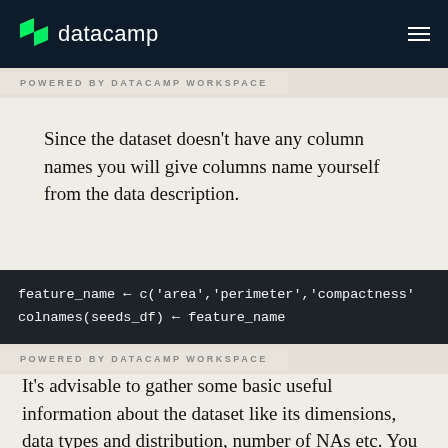datacamp
[Figure (screenshot): Dark code block showing R code: feature_name <- c('area','perimeter','compactness') and colnames(seeds_df) <- feature_name, with POWERED BY DATACAMP WORKSPACE label below]
Since the dataset doesn't have any column names you will give columns name yourself from the data description.
[Figure (screenshot): Dark code block showing R code: feature_name <- c('area','perimeter','compactness') and colnames(seeds_df) <- feature_name, with POWERED BY DATACAMP WORKSPACE label below]
It's advisable to gather some basic useful information about the dataset like its dimensions, data types and distribution, number of NAs etc. You will do so by using the str(), summary() and is.na() functions in R.